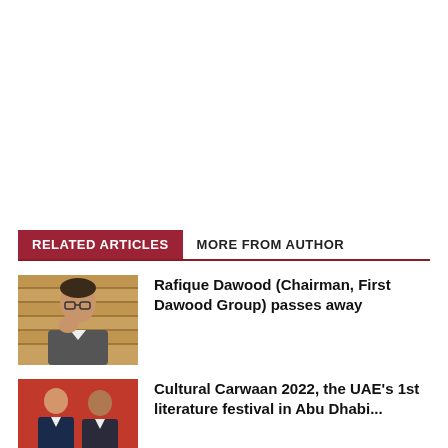RELATED ARTICLES
MORE FROM AUTHOR
[Figure (photo): Portrait photo of Rafique Dawood, an older man with glasses resting hand on chin, warm brown background]
Rafique Dawood (Chairman, First Dawood Group) passes away
[Figure (photo): Photo of two men in suits in front of a red backdrop]
Cultural Carwaan 2022, the UAE's 1st literature festival in Abu Dhabi...